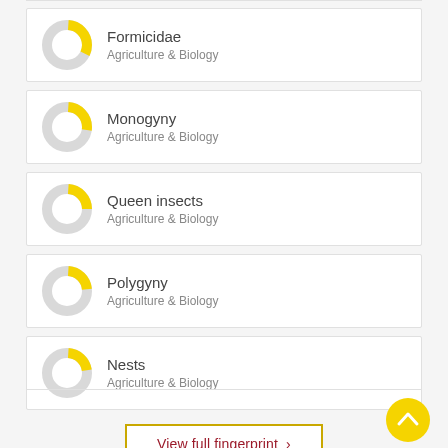Formicidae
Agriculture & Biology
Monogyny
Agriculture & Biology
Queen insects
Agriculture & Biology
Polygyny
Agriculture & Biology
Nests
Agriculture & Biology
View full fingerprint >